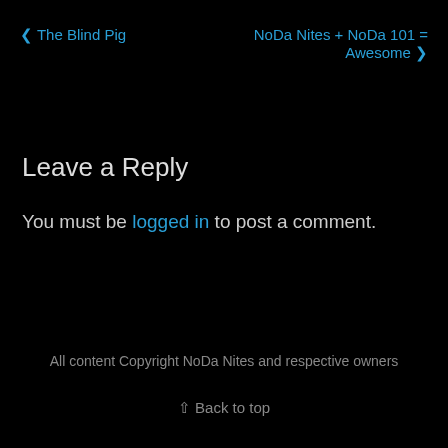❮ The Blind Pig
NoDa Nites + NoDa 101 = Awesome ❯
Leave a Reply
You must be logged in to post a comment.
All content Copyright NoDa Nites and respective owners
⌃ Back to top